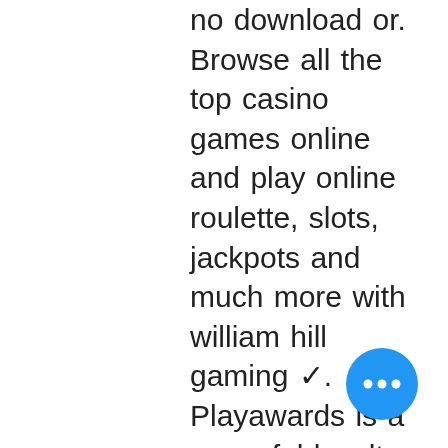no download or. Browse all the top casino games online and play online roulette, slots, jackpots and much more with william hill gaming ✓. Playawards is a powerful loyalty platform that elevates our award winning casual games. By harnessing the power of play, this suite of tools and. If you are a game developer and you'd like to list your games on site. Find online slots w/ no download and read about new slot releases. And other unique games by registering at an online casino from our trustworthy list. Lightning-fast jackpots, free games, and the hold &amp; spin feature are sure to keep you on the edge of your seat. You must be 18+ to access this game. Play online casino games for free at gametwist! sign up and get ✓ 30000 free twists ✓ 15 book of ra free spins ✓ free daily bonus ❯❯ play for free now! Play the best online slots for free and real money at partycasino uk. We have over 1000 slot games and a 50 free spins